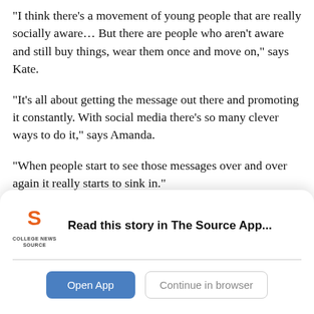“I think there’s a movement of young people that are really socially aware… But there are people who aren’t aware and still buy things, wear them once and move on,” says Kate.
“It’s all about getting the message out there and promoting it constantly. With social media there’s so many clever ways to do it,” says Amanda.
“When people start to see those messages over and over again it really starts to sink in.”
Kate also hopes that consumers begin to understand and
[Figure (logo): College News Source logo with orange S icon and text COLLEGE NEWS SOURCE]
Read this story in The Source App...
Open App
Continue in browser